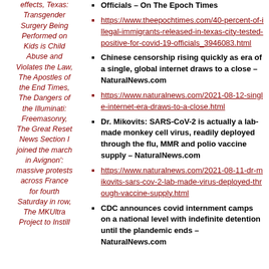effects, Texas: Transgender Surgery Being Performed on Kids is Child Abuse and Violates the Law, The Apostles of the End Times, The Dangers of the Illuminati: Freemasonry, The Great Reset News Section I joined the march in Avignon': massive protests across France for fourth Saturday in row, The MKUltra Project to Instill
Officials – On The Epoch Times
https://www.theepochtimes.com/40-percent-of-illegal-immigrants-released-in-texas-city-tested-positive-for-covid-19-officials_3946083.html
Chinese censorship rising quickly as era of a single, global internet draws to a close – NaturalNews.com
https://www.naturalnews.com/2021-08-12-single-internet-era-draws-to-a-close.html
Dr. Mikovits: SARS-CoV-2 is actually a lab-made monkey cell virus, readily deployed through the flu, MMR and polio vaccine supply – NaturalNews.com
https://www.naturalnews.com/2021-08-11-dr-mikovits-sars-cov-2-lab-made-virus-deployed-through-vaccine-supply.html
CDC announces covid internment camps on a national level with indefinite detention until the plandemic ends – NaturalNews.com